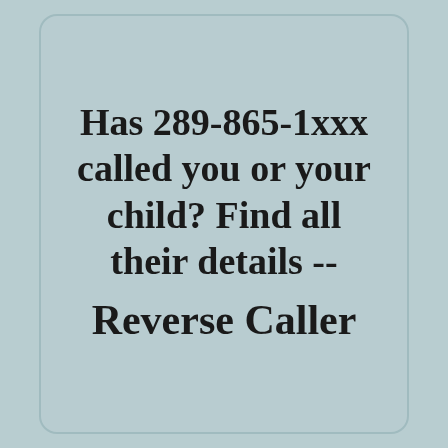Has 289-865-1xxx called you or your child? Find all their details -- Reverse Caller